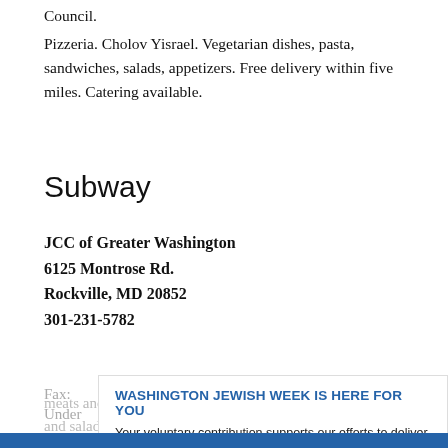Council.
Pizzeria. Cholov Yisrael. Vegetarian dishes, pasta, sandwiches, salads, appetizers. Free delivery within five miles. Catering available.
Subway
JCC of Greater Washington
6125 Montrose Rd.
Rockville, MD 20852
301-231-5782
Fax:
Under
Council.
[Figure (infographic): Washington Jewish Week popup overlay with blue header 'WASHINGTON JEWISH WEEK IS HERE FOR YOU', descriptive text, and a blue CONTRIBUTE button]
meats and pareve, dairy-free, soy-based cheese. Also offer and salads.